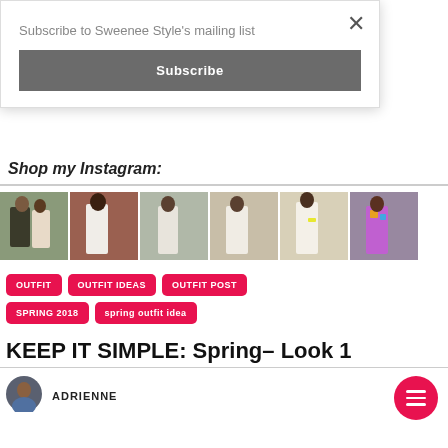Subscribe to Sweenee Style's mailing list
Subscribe
Shop my Instagram:
[Figure (photo): Row of 6 Instagram fashion photos showing women in various outfits]
OUTFIT
OUTFIT IDEAS
OUTFIT POST
SPRING 2018
spring outfit idea
KEEP IT SIMPLE: Spring- Look 1
ADRIENNE